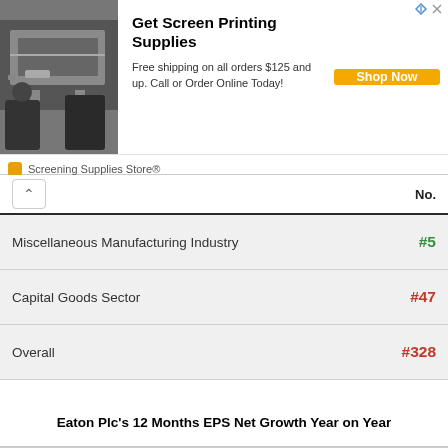[Figure (other): Advertisement banner for Screening Supplies Store with photo of screen printing, headline 'Get Screen Printing Supplies', description text, and Shop Now button]
|  | No. |
| --- | --- |
| Miscellaneous Manufacturing Industry | #5 |
| Capital Goods Sector | #47 |
| Overall | #328 |
Eaton Plc's 12 Months EPS Net Growth Year on Year